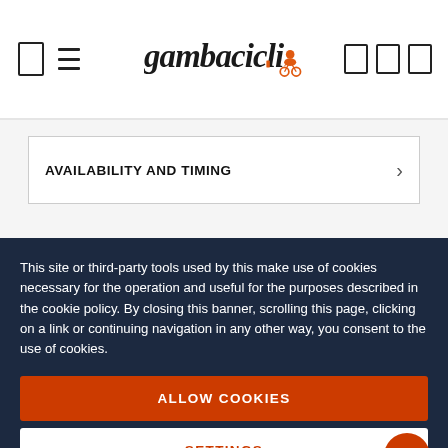gambacicli [logo with cyclist icon]
AVAILABILITY AND TIMING
[Figure (logo): Trustpilot logo with green star and partial text visible]
This site or third-party tools used by this make use of cookies necessary for the operation and useful for the purposes described in the cookie policy. By closing this banner, scrolling this page, clicking on a link or continuing navigation in any other way, you consent to the use of cookies.
ALLOW COOKIES
SETTINGS